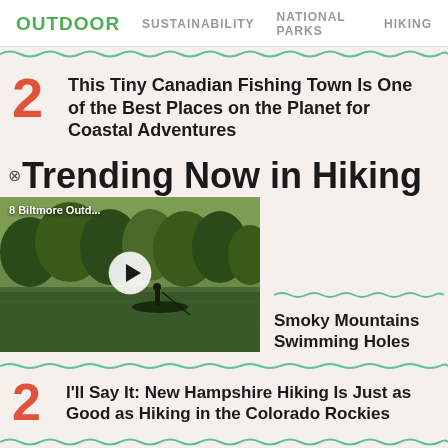OUTDOOR  SUSTAINABILITY  NATIONAL PARKS  HIKING
2  This Tiny Canadian Fishing Town Is One of the Best Places on the Planet for Coastal Adventures
Trending Now in Hiking
[Figure (screenshot): Video thumbnail showing a person in a boat on a lake with trees in background. Label reads '8 Biltmore Outd...' with a play button overlay.]
Smoky Mountains Swimming Holes
2  I'll Say It: New Hampshire Hiking Is Just as Good as Hiking in the Colorado Rockies